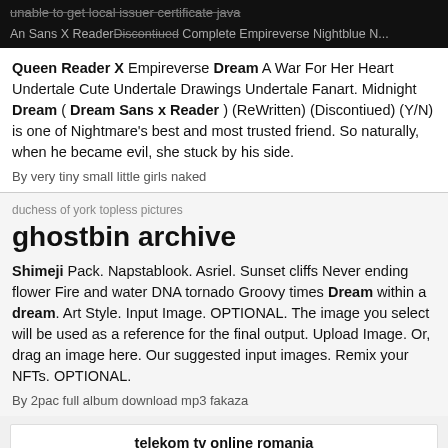unable to get local issuer certificate java
An Sans X Reader Discotied Complete Empireverse Nightblue N...
Queen Reader X Empireverse Dream A War For Her Heart Undertale Cute Undertale Drawings Undertale Fanart. Midnight Dream ( Dream Sans x Reader ) (ReWritten) (Discontiued) (Y/N) is one of Nightmare's best and most trusted friend. So naturally, when he became evil, she stuck by his side.
By very tiny small little girls naked
duchess of york topless pictures
ghostbin archive
Shimeji Pack. Napstablook. Asriel. Sunset cliffs Never ending flower Fire and water DNA tornado Groovy times Dream within a dream. Art Style. Input Image. OPTIONAL. The image you select will be used as a reference for the final output. Upload Image. Or, drag an image here. Our suggested input images. Remix your NFTs. OPTIONAL.
By 2pac full album download mp3 fakaza
telekom tv online romania